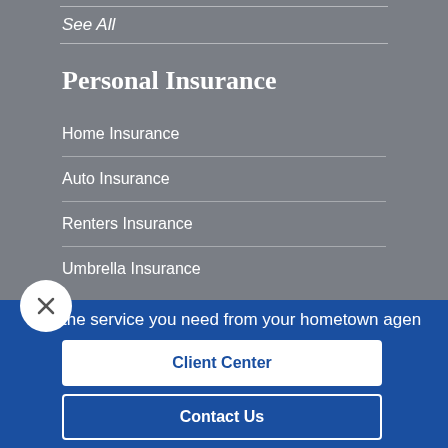See All
Personal Insurance
Home Insurance
Auto Insurance
Renters Insurance
Umbrella Insurance
the service you need from your hometown agen
Client Center
Contact Us